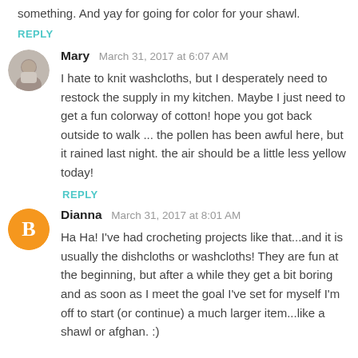something. And yay for going for color for your shawl.
REPLY
Mary  March 31, 2017 at 6:07 AM
I hate to knit washcloths, but I desperately need to restock the supply in my kitchen. Maybe I just need to get a fun colorway of cotton! hope you got back outside to walk ... the pollen has been awful here, but it rained last night. the air should be a little less yellow today!
REPLY
Dianna  March 31, 2017 at 8:01 AM
Ha Ha! I've had crocheting projects like that...and it is usually the dishcloths or washcloths! They are fun at the beginning, but after a while they get a bit boring and as soon as I meet the goal I've set for myself I'm off to start (or continue) a much larger item...like a shawl or afghan. :)